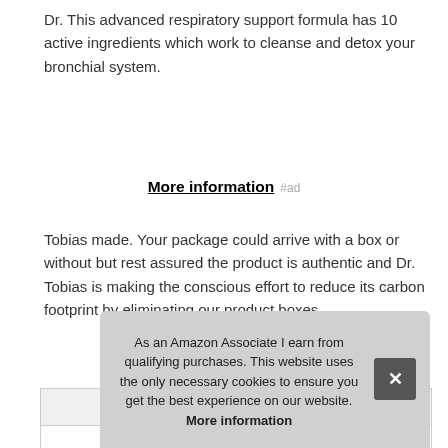Dr. This advanced respiratory support formula has 10 active ingredients which work to cleanse and detox your bronchial system.
More information #ad
Tobias made. Your package could arrive with a box or without but rest assured the product is authentic and Dr. Tobias is making the conscious effort to reduce its carbon footprint by eliminating our product boxes.
| Brand | Dr. Tobias #ad |
| --- | --- |
| Ma |  |
| P |  |
As an Amazon Associate I earn from qualifying purchases. This website uses the only necessary cookies to ensure you get the best experience on our website. More information